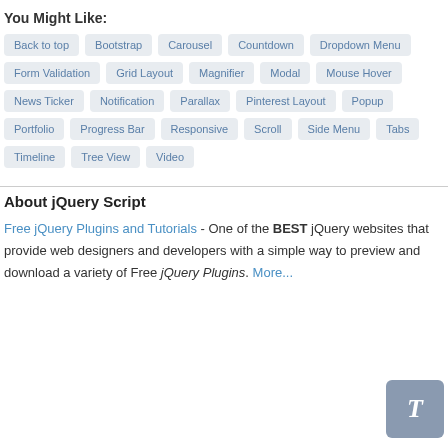You Might Like:
Back to top
Bootstrap
Carousel
Countdown
Dropdown Menu
Form Validation
Grid Layout
Magnifier
Modal
Mouse Hover
News Ticker
Notification
Parallax
Pinterest Layout
Popup
Portfolio
Progress Bar
Responsive
Scroll
Side Menu
Tabs
Timeline
Tree View
Video
About jQuery Script
Free jQuery Plugins and Tutorials - One of the BEST jQuery websites that provide web designers and developers with a simple way to preview and download a variety of Free jQuery Plugins. More...